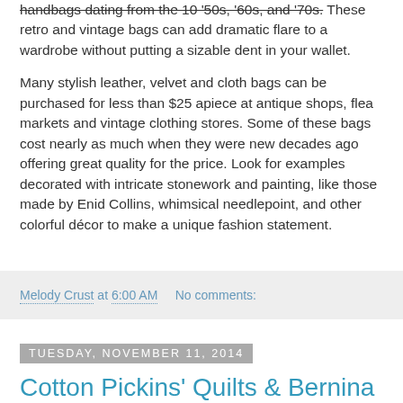handbags dating from the 10 '50s, '60s, and '70s. These retro and vintage bags can add dramatic flare to a wardrobe without putting a sizable dent in your wallet.
Many stylish leather, velvet and cloth bags can be purchased for less than $25 apiece at antique shops, flea markets and vintage clothing stores. Some of these bags cost nearly as much when they were new decades ago offering great quality for the price. Look for examples decorated with intricate stonework and painting, like those made by Enid Collins, whimsical needlepoint, and other colorful décor to make a unique fashion statement.
Melody Crust at 6:00 AM    No comments:
Tuesday, November 11, 2014
Cotton Pickins' Quilts & Bernina